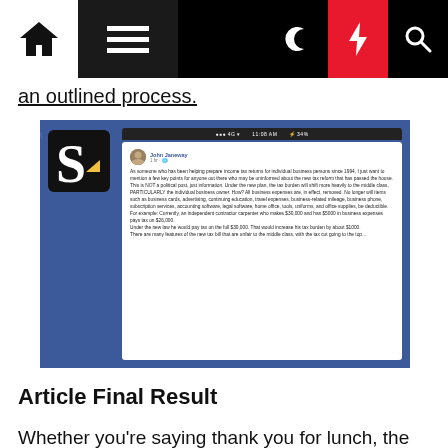Navigation bar with home, menu, moon, bolt, and search icons
an outlined process.
[Figure (screenshot): A Facebook post screenshot overlaid on a blue patterned background with a Scribd-like logo. The post reads about tax reform and its effects on individual business owners and contractors.]
Article Final Result
Whether you're saying thank you for lunch, the chance to introduce yourself or following up on a earlier contact, customized stationery gives you an added edge simply because most individuals do not take the time to make use of it. Anybody can send an e-mail, and e-mail still has its place in business